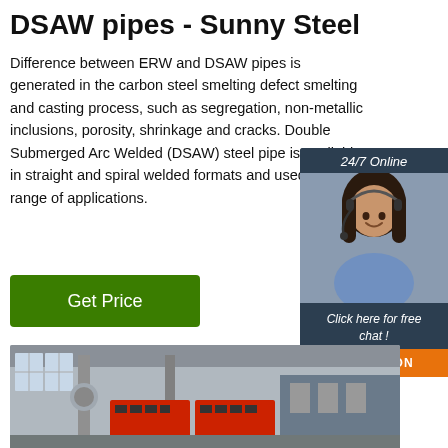DSAW pipes - Sunny Steel
Difference between ERW and DSAW pipes is generated in the carbon steel smelting defect smelting and casting process, such as segregation, non-metallic inclusions, porosity, shrinkage and cracks. Double Submerged Arc Welded (DSAW) steel pipe is available in straight and spiral welded formats and used in a range of applications.
[Figure (photo): Customer service representative with headset, 24/7 Online chat widget with QUOTATION button]
[Figure (photo): Factory interior showing industrial pipe manufacturing equipment with large red machinery]